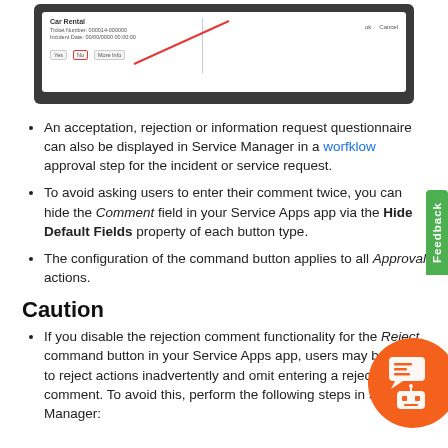[Figure (screenshot): Screenshot of a Car Rental service ticket interface with buttons and a dialog, with a red diagonal line indicating an element.]
An acceptation, rejection or information request questionnaire can also be displayed in Service Manager in a worfklow approval step for the incident or service request.
To avoid asking users to enter their comment twice, you can hide the Comment field in your Service Apps app via the Hide Default Fields property of each button type.
The configuration of the command button applies to all Approval actions.
Caution
If you disable the rejection comment functionality for the Reject command button in your Service Apps app, users may be able to reject actions inadvertently and omit entering a rejection comment. To avoid this, perform the following steps in Service Manager: